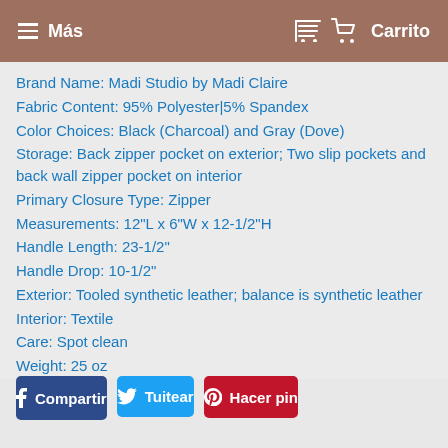≡ Más    🛒 Carrito
Brand Name: Madi Studio by Madi Claire
Fabric Content: 95% Polyester|5% Spandex
Color Choices: Black (Charcoal) and Gray (Dove)
Storage: Back zipper pocket on exterior; Two slip pockets and back wall zipper pocket on interior
Primary Closure Type: Zipper
Measurements: 12"L x 6"W x 12-1/2"H
Handle Length: 23-1/2"
Handle Drop: 10-1/2"
Exterior: Tooled synthetic leather; balance is synthetic leather
Interior: Textile
Care: Spot clean
Weight: 25 oz
Compartir
Tuitear
Hacer pin